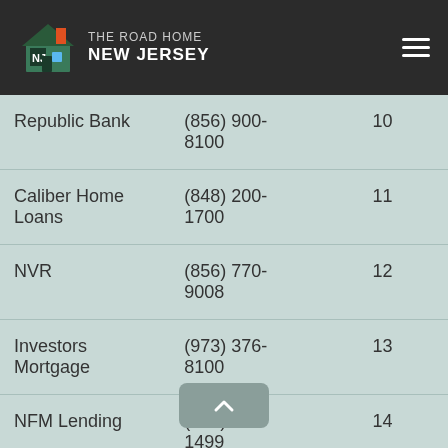The Road Home New Jersey
| Lender | Phone | Rank |
| --- | --- | --- |
| Republic Bank | (856) 900-8100 | 10 |
| Caliber Home Loans | (848) 200-1700 | 11 |
| NVR | (856) 770-9008 | 12 |
| Investors Mortgage | (973) 376-8100 | 13 |
| NFM Lending | (877) 314-1499 | 14 |
| Fairway | (866) 912-4200 | 15 |